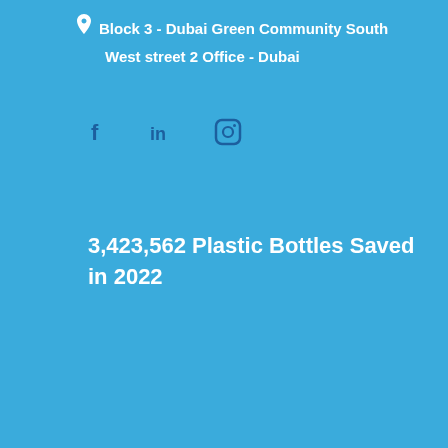Block 3 - Dubai Green Community South West street 2 Office - Dubai
[Figure (other): Social media icons: Facebook (f), LinkedIn (in), Instagram (camera icon)]
3,423,562 Plastic Bottles Saved in 2022